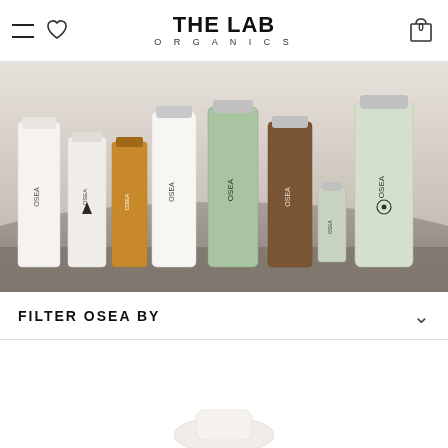THE LAB ORGANICS — navigation header with hamburger menu, heart icon, logo, and cart icon (0 items)
[Figure (photo): Product photo showing multiple OSEA brand skincare bottles and containers arranged on stone/rock surface with neutral background]
FILTER OSEA BY
[Figure (photo): Partial product image visible at bottom of page — white/cream product container]